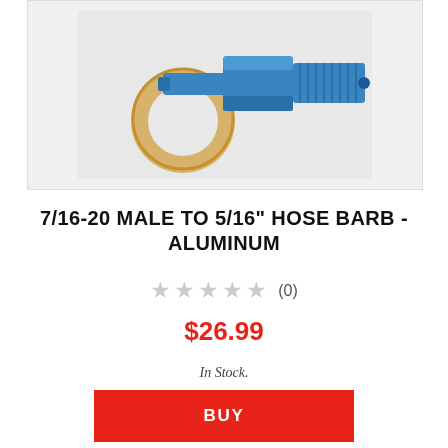[Figure (photo): Blue aluminum 7/16-20 male to 5/16 inch hose barb fitting with a tan/copper colored crush washer ring beside it, on a white/light gray background]
7/16-20 MALE TO 5/16" HOSE BARB - ALUMINUM
★ ★ ★ ★ ★ (0)
$26.99
In Stock.
BUY
[Figure (photo): Partial view of another product image showing red colored tubing or fitting on a white background]